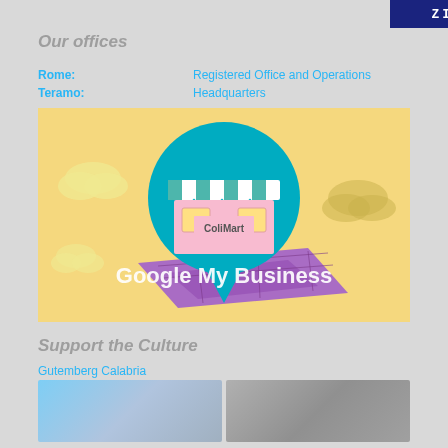[Figure (logo): Zinc Wire logo text on dark navy blue background]
Our offices
Rome: Registered Office and Operations
Teramo: Headquarters
[Figure (illustration): Google My Business promotional illustration showing a teal location pin with a storefront inside, map below, on a yellow background with clouds and text reading 'Google My Business']
Support the Culture
Gutemberg Calabria
[Figure (photo): Two partially visible images at the bottom of the page]